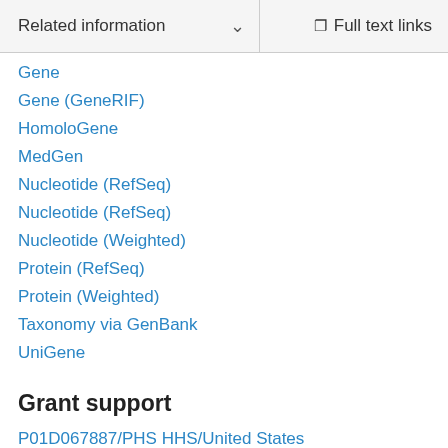Related information  ∨   Full text links
Gene
Gene (GeneRIF)
HomoloGene
MedGen
Nucleotide (RefSeq)
Nucleotide (RefSeq)
Nucleotide (Weighted)
Protein (RefSeq)
Protein (Weighted)
Taxonomy via GenBank
UniGene
Grant support
P01D067887/PHS HHS/United States
R56 DK094954/DK/NIDDK NIH HHS/United States